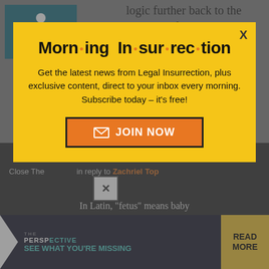[Figure (screenshot): Background page with teal accessibility icon, partial article text reading 'logic further back to the moment of conception and further still. Under that logic a sperm or egg is a person because']
[Figure (infographic): Modal popup with yellow background. Title: 'Morning Insurrection' with orange dots between syllables. Body text: 'Get the latest news from Legal Insurrection, plus exclusive content, direct to your inbox every morning. Subscribe today – it's free!' Orange JOIN NOW button with envelope icon. X close button top right.]
[Figure (screenshot): Bottom of page showing dark background, close button (X), text 'Close The... in reply to Zachriel Top', and a Perspective ad bar reading 'THE PERSPECTIVE — SEE WHAT YOU'RE MISSING' with READ MORE button, and partial text 'In Latin, fetus means baby']